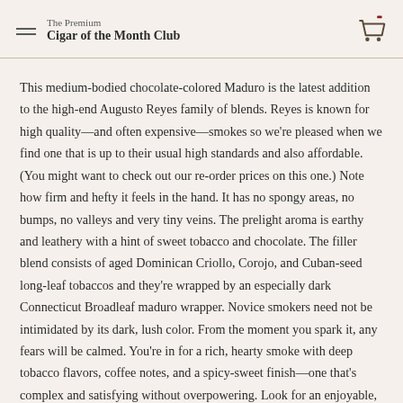The Premium Cigar of the Month Club
This medium-bodied chocolate-colored Maduro is the latest addition to the high-end Augusto Reyes family of blends. Reyes is known for high quality—and often expensive—smokes so we're pleased when we find one that is up to their usual high standards and also affordable. (You might want to check out our re-order prices on this one.) Note how firm and hefty it feels in the hand. It has no spongy areas, no bumps, no valleys and very tiny veins. The prelight aroma is earthy and leathery with a hint of sweet tobacco and chocolate. The filler blend consists of aged Dominican Criollo, Corojo, and Cuban-seed long-leaf tobaccos and they're wrapped by an especially dark Connecticut Broadleaf maduro wrapper. Novice smokers need not be intimidated by its dark, lush color. From the moment you spark it, any fears will be calmed. You're in for a rich, hearty smoke with deep tobacco flavors, coffee notes, and a spicy-sweet finish—one that's complex and satisfying without overpowering. Look for an enjoyable, long, chewy finish. Pair this complex stogie with a strong ale or a full tawny port.